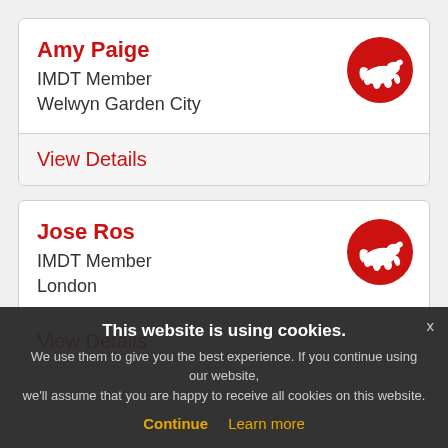Amy Paige
IMDT Member
Welwyn Garden City
View Details
Jose Ros
IMDT Member
London
View Details
This website is using cookies.
We use them to give you the best experience. If you continue using our website, we'll assume that you are happy to receive all cookies on this website.
Continue   Learn more